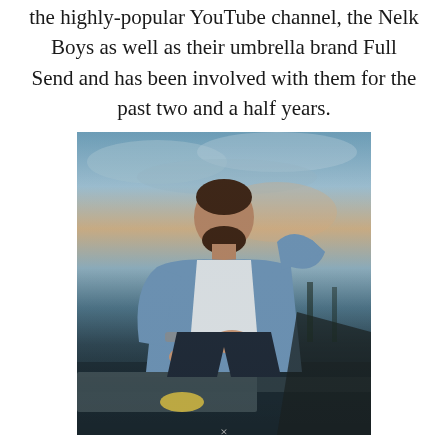the highly-popular YouTube channel, the Nelk Boys as well as their umbrella brand Full Send and has been involved with them for the past two and a half years.
[Figure (photo): Young man with beard sitting outdoors wearing a denim jacket and white t-shirt, leaning on a ledge with a sunset sky in the background.]